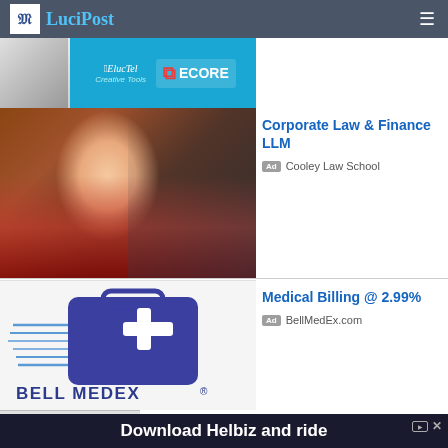LuciPost
[Figure (screenshot): Top advertisement banner with ElucTel and ECORE branding on a blue background]
[Figure (photo): Photo of a smiling young woman with curly hair in a red top, seated at a table]
Corporate Law & Finance LLM
Ad  Cooley Law School
[Figure (logo): Bell MedEx logo with blue medical kit icon and speed lines]
Medical Billing @ 2.99%
Ad  BellMedEx.com
Download Helbiz and ride